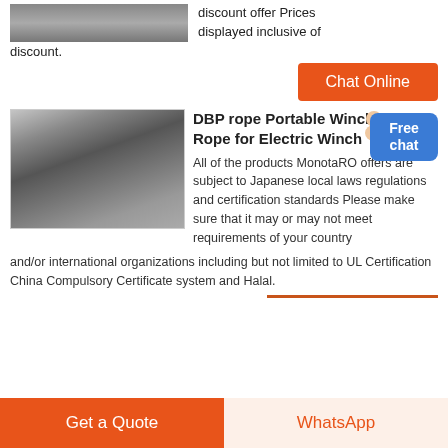[Figure (photo): Partial view of industrial machinery on a factory floor, top of page]
discount offer Prices displayed inclusive of discount.
[Figure (other): Orange Chat Online button]
[Figure (photo): Industrial grinding mill machine inside a factory building with yellow metal stairs in background]
DBP rope Portable Winch Rope for Electric Winch
All of the products MonotaRO offers are subject to Japanese local laws regulations and certification standards Please make sure that it may or may not meet requirements of your country and/or international organizations including but not limited to UL Certification China Compulsory Certificate system and Halal.
[Figure (other): Free chat blue badge with person icon]
[Figure (other): Get a Quote orange button]
[Figure (other): WhatsApp button with pale background]